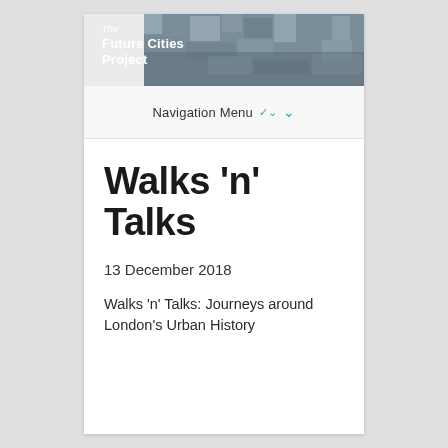[Figure (screenshot): Header banner with aerial city photograph background and The Future Cities Project logo text in white]
Navigation Menu ∨
Walks 'n' Talks
13 December 2018
Walks 'n' Talks: Journeys around London's Urban History